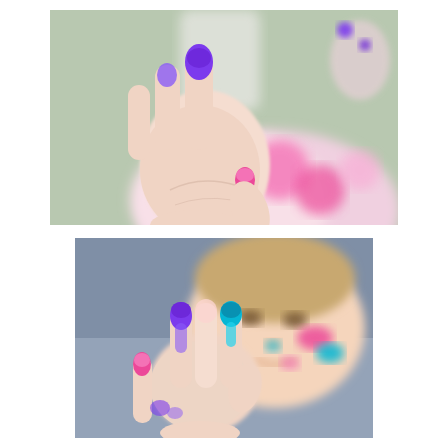[Figure (photo): Close-up photograph of a child's hand held up toward the camera with colorful finger paint on the fingers — purple on the index finger and thumb tip, bright pink on the pinky fingertip. The child is blurred in the background wearing a pink floral top.]
[Figure (photo): Photograph of a young girl holding up her hand with finger paint on it — purple on two fingers, cyan/turquoise on other fingers, pink on the pinky and thumb. The girl's face is visible in the background with paint smudges (pink and cyan) on her cheeks and nose. She is smiling slightly.]